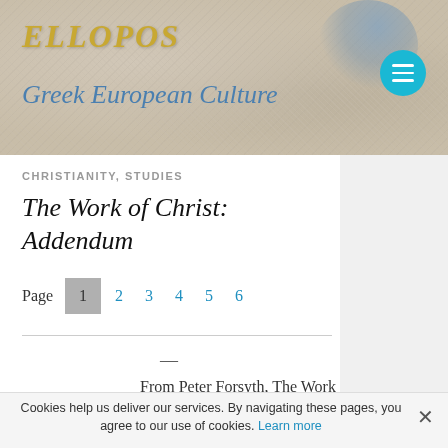[Figure (illustration): Ellopos website header banner with stone/parchment texture background, blue watercolor smear top-right, site title ELLOPOS in gold italic, subtitle Greek European Culture in blue italic, teal circular hamburger menu button]
ELLOPOS — Greek European Culture
CHRISTIANITY, STUDIES
The Work of Christ: Addendum
Page 1 2 3 4 5 6
—
From Peter Forsyth, The Work Of
Cookies help us deliver our services. By navigating these pages, you agree to our use of cookies. Learn more